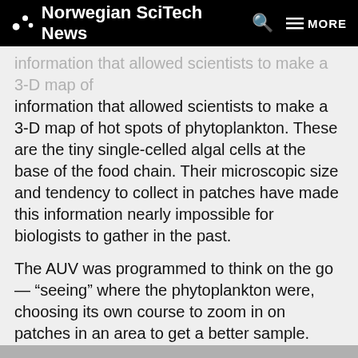Norwegian SciTech News
information that allowed scientists to make a 3-D map of hot spots of phytoplankton. These are the tiny single-celled algal cells at the base of the food chain. Their microscopic size and tendency to collect in patches have made this information nearly impossible for biologists to gather in the past.
The AUV was programmed to think on the go — “seeing” where the phytoplankton were, choosing its own course to zoom in on patches in an area to get a better sample. Scientists call this “adaptive sampling.” The 3-D maps, in turn, could provide important clues as to why bird populations around Runde were plummeting.
Article continues under photo.